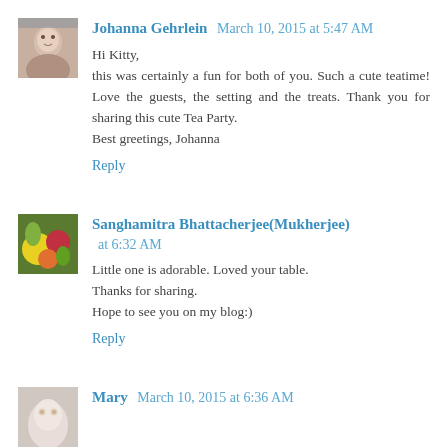Johanna Gehrlein March 10, 2015 at 5:47 AM
Hi Kitty,
this was certainly a fun for both of you. Such a cute teatime! Love the guests, the setting and the treats. Thank you for sharing this cute Tea Party.
Best greetings, Johanna
Reply
Sanghamitra Bhattacherjee(Mukherjee) March 10, 2015 at 6:32 AM
Little one is adorable. Loved your table.
Thanks for sharing.
Hope to see you on my blog:)
Reply
Mary March 10, 2015 at 6:36 AM